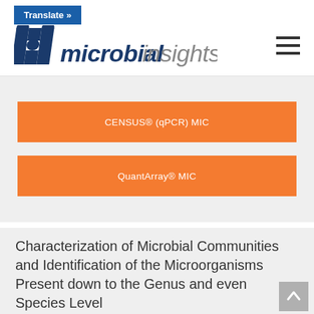Translate »
[Figure (logo): Microbial Insights logo with bold italic blue 'm' icon and company name 'microbialinsights' in dark blue/gray italic text]
CENSUS® (qPCR) MIC
QuantArray® MIC
Characterization of Microbial Communities and Identification of the Microorganisms Present down to the Genus and even Species Level